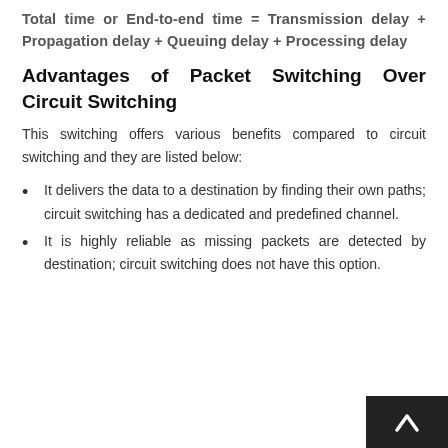Advantages of Packet Switching Over Circuit Switching
This switching offers various benefits compared to circuit switching and they are listed below:
It delivers the data to a destination by finding their own paths; circuit switching has a dedicated and predefined channel.
It is highly reliable as missing packets are detected by destination; circuit switching does not have this option.